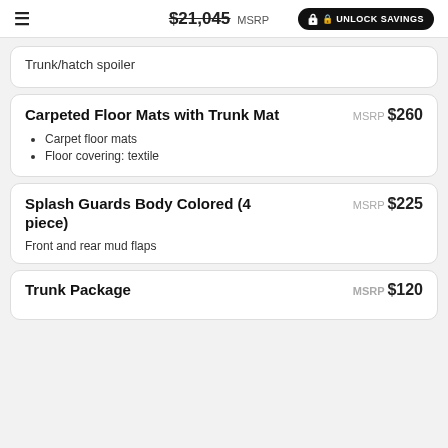$21,045 MSRP | UNLOCK SAVINGS
Trunk/hatch spoiler
Carpeted Floor Mats with Trunk Mat
MSRP $260
Carpet floor mats
Floor covering: textile
Splash Guards Body Colored (4 piece)
MSRP $225
Front and rear mud flaps
Trunk Package
MSRP $120